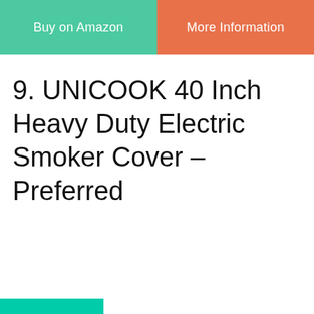Buy on Amazon
More Information
9. UNICOOK 40 Inch Heavy Duty Electric Smoker Cover – Preferred